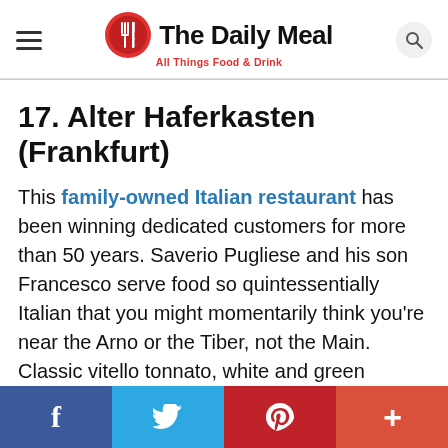The Daily Meal — All Things Food & Drink
17. Alter Haferkasten (Frankfurt)
This family-owned Italian restaurant has been winning dedicated customers for more than 50 years. Saverio Pugliese and his son Francesco serve food so quintessentially Italian that you might momentarily think you're near the Arno or the Tiber, not the Main. Classic vitello tonnato, white and green asparagus with shrimp and lemon vinaigrette, baby calamari in spicy tomato sauce, homemade tortelloni filled with ricotta and spinach in a sage
f  t  p  +